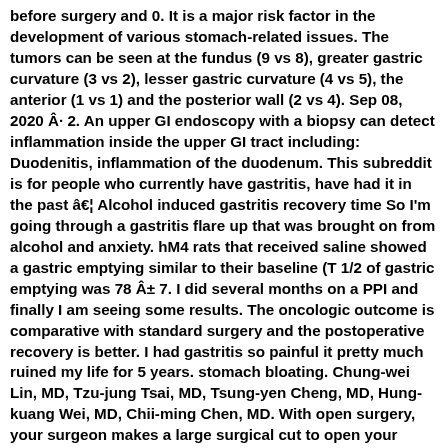before surgery and 0. It is a major risk factor in the development of various stomach-related issues. The tumors can be seen at the fundus (9 vs 8), greater gastric curvature (3 vs 2), lesser gastric curvature (4 vs 5), the anterior (1 vs 1) and the posterior wall (2 vs 4). Sep 08, 2020 Â· 2. An upper GI endoscopy with a biopsy can detect inflammation inside the upper GI tract including: Duodenitis, inflammation of the duodenum. This subreddit is for people who currently have gastritis, have had it in the past â€¦ Alcohol induced gastritis recovery time So I'm going through a gastritis flare up that was brought on from alcohol and anxiety. hM4 rats that received saline showed a gastric emptying similar to their baseline (T 1/2 of gastric emptying was 78 Â± 7. I did several months on a PPI and finally I am seeing some results. The oncologic outcome is comparative with standard surgery and the postoperative recovery is better. I had gastritis so painful it pretty much ruined my life for 5 years. stomach bloating. Chung-wei Lin, MD, Tzu-jung Tsai, MD, Tsung-yen Cheng, MD, Hung-kuang Wei, MD, Chii-ming Chen, MD. With open surgery, your surgeon makes a large surgical cut to open your belly. Methods A comprehensive, systematic meta-analysis of Nov 08, 2020 Â· Lap band 10 years later. Put the grated potatoes on a strainer and press with a spoon to extract the juice. Youâ€™ll receive 100% individualized treatment with a physician, therapist, psychiatrist and dietitian who will